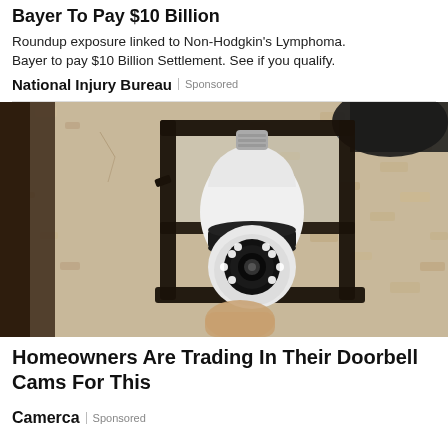Bayer To Pay $10 Billion
Roundup exposure linked to Non-Hodgkin's Lymphoma. Bayer to pay $10 Billion Settlement. See if you qualify.
National Injury Bureau | Sponsored
[Figure (photo): A security camera shaped like a light bulb installed in an outdoor black lantern-style wall fixture, mounted on a textured stucco wall. A hand is visible installing or adjusting the device.]
Homeowners Are Trading In Their Doorbell Cams For This
Camerca | Sponsored